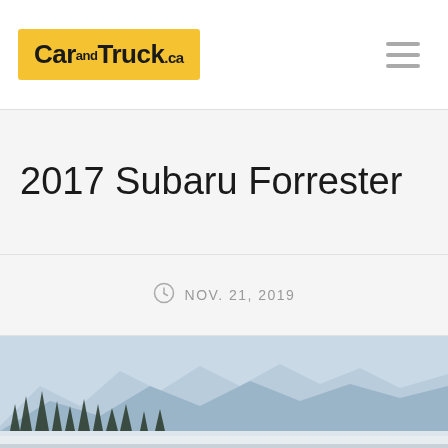CarandTruck.ca
2017 Subaru Forrester
NOV. 21, 2019
[Figure (photo): Snowy mountain landscape with snow-covered trees in foreground and mountain range in background under blue-grey sky]